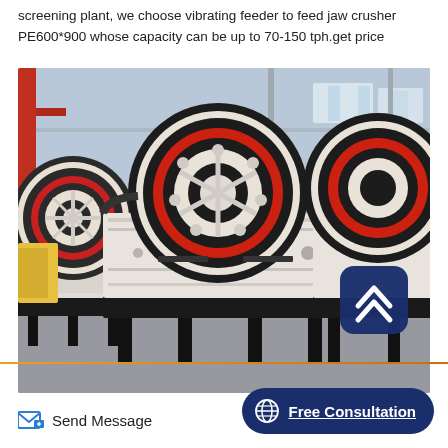screening plant, we choose vibrating feeder to feed jaw crusher PE600*900 whose capacity can be up to 70-150 tph.get price
[Figure (photo): Industrial jaw crushers with large black and red flywheel pulleys in a factory setting. Two large jaw crusher machines (PE600*900 style) with prominent circular flywheel rims in red and black, white/cream painted bodies, mounted on black steel bases, inside a large industrial building with steel structure visible in background.]
Send Message
Free Consultation